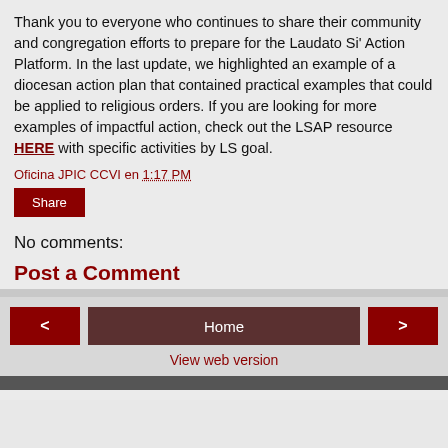Thank you to everyone who continues to share their community and congregation efforts to prepare for the Laudato Si’ Action Platform. In the last update, we highlighted an example of a diocesan action plan that contained practical examples that could be applied to religious orders. If you are looking for more examples of impactful action, check out the LSAP resource HERE with specific activities by LS goal.
Oficina JPIC CCVI en 1:17 PM
Share
No comments:
Post a Comment
< | Home | > | View web version